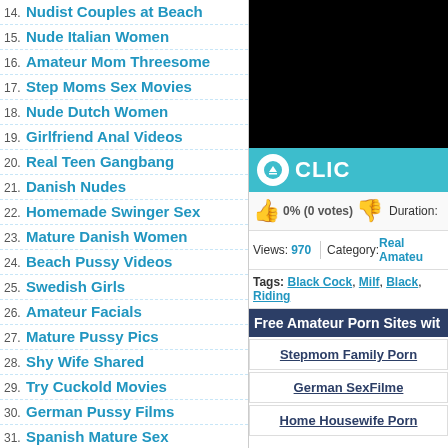14. Nudist Couples at Beach
15. Nude Italian Women
16. Amateur Mom Threesome
17. Step Moms Sex Movies
18. Nude Dutch Women
19. Girlfriend Anal Videos
20. Real Teen Gangbang
21. Danish Nudes
22. Homemade Swinger Sex
23. Mature Danish Women
24. Beach Pussy Videos
25. Swedish Girls
26. Amateur Facials
27. Mature Pussy Pics
28. Shy Wife Shared
29. Try Cuckold Movies
30. German Pussy Films
31. Spanish Mature Sex
[Figure (screenshot): Black video player area]
CLIC (teal bar with download icon)
0% (0 votes)  Duration:
Views: 970  Category: Real Amateur
Tags: Black Cock, Milf, Black, Riding
Free Amateur Porn Sites wit
Stepmom Family Porn
German SexFilme
Home Housewife Porn